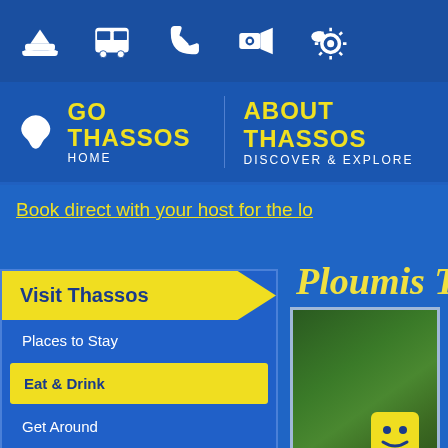[Figure (screenshot): Top navigation icon bar with 5 white icons on dark blue background: boat, bus, phone, camera, and settings/weather icon]
[Figure (screenshot): Navigation bar with Go Thassos logo and island outline icon, HOME label, divider, ABOUT THASSOS / DISCOVER & EXPLORE]
Book direct with your host for the lo
Visit Thassos
Ploumis Taver
Places to Stay
Eat & Drink
Get Around
Have Fun
Services